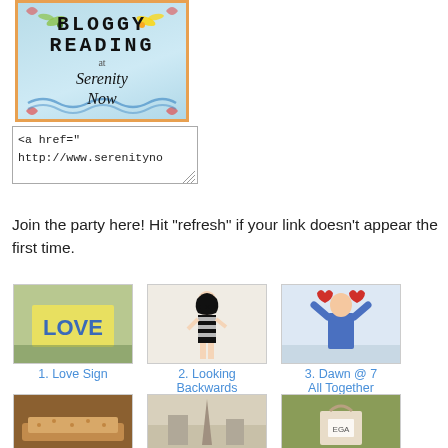[Figure (illustration): Bloggy Reading at Serenity Now badge/logo with teal border, dragonfly decorations, and handwritten-style text]
<a href="http://www.serenityno
Join the party here! Hit "refresh" if your link doesn't appear the first time.
[Figure (photo): Love Sign - yellow sign with word LOVE in blue letters]
1. Love Sign
[Figure (photo): Looking Backwards - vintage Barbie doll in black and white swimsuit]
2. Looking Backwards
[Figure (photo): Dawn @ 7 All Together - child in blue outfit with red heart]
3. Dawn @ 7 All Together
[Figure (photo): Food item - baked goods on a plate]
[Figure (photo): Monument or landmark photo in sepia tones]
[Figure (photo): Shopping bag with items inside]